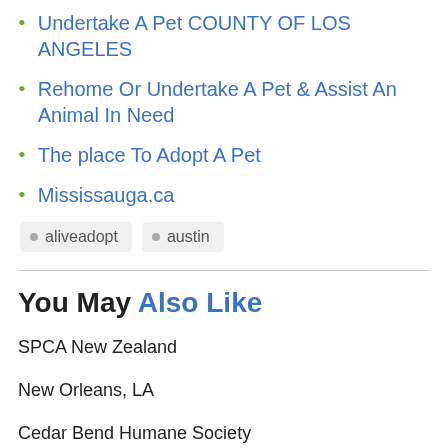Undertake A Pet COUNTY OF LOS ANGELES
Rehome Or Undertake A Pet & Assist An Animal In Need
The place To Adopt A Pet
Mississauga.ca
aliveadopt  austin
You May Also Like
SPCA New Zealand
New Orleans, LA
Cedar Bend Humane Society
Adopt A Pet In St. Louis